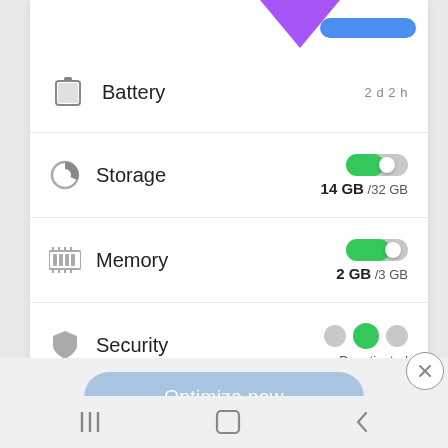[Figure (screenshot): Android device manager screenshot showing Battery (2d 2h), Storage (14 GB / 32 GB), Memory (2 GB / 3 GB), Security (Deactivated), and Ultra data saving (Start saving) entries, with an Optimize now button and a bottom navigation bar. A purple annotation arrow points to the top area.]